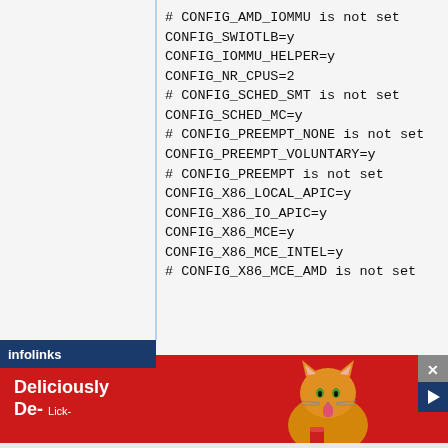# CONFIG_AMD_IOMMU is not set
CONFIG_SWIOTLB=y
CONFIG_IOMMU_HELPER=y
CONFIG_NR_CPUS=2
# CONFIG_SCHED_SMT is not set
CONFIG_SCHED_MC=y
# CONFIG_PREEMPT_NONE is not set
CONFIG_PREEMPT_VOLUNTARY=y
# CONFIG_PREEMPT is not set
CONFIG_X86_LOCAL_APIC=y
CONFIG_X86_IO_APIC=y
CONFIG_X86_MCE=y
CONFIG_X86_MCE_INTEL=y
# CONFIG_X86_MCE_AMD is not set
[Figure (screenshot): Advertisement banner: red background with 'Deliciously De-' text, orange cat image, infolinks branding, and close/play buttons]